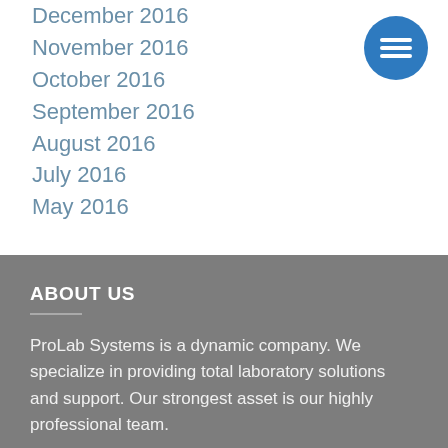December 2016
November 2016
October 2016
September 2016
August 2016
July 2016
May 2016
[Figure (illustration): Blue circular menu button with three horizontal white lines (hamburger icon)]
ABOUT US
ProLab Systems is a dynamic company. We specialize in providing total laboratory solutions and support. Our strongest asset is our highly professional team.